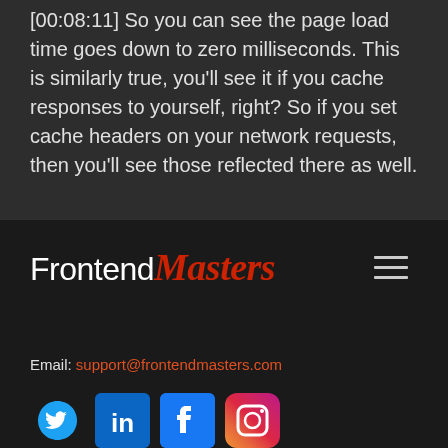[00:08:11] So you can see the page load time goes down to zero milliseconds. This is similarly true, you'll see it if you cache responses to yourself, right? So if you set cache headers on your network requests, then you'll see those reflected there as well.
[Figure (logo): FrontendMasters logo with white sans-serif 'Frontend' and red italic serif 'Masters' text, with hamburger menu icon on the right]
Email: support@frontendmasters.com
[Figure (illustration): Social media icons: Twitter (bird), LinkedIn (in), Facebook (f), Instagram (camera)]